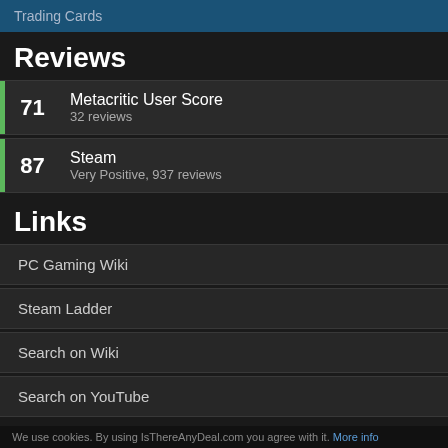Trading Cards
Reviews
71 | Metacritic User Score | 32 reviews
87 | Steam | Very Positive, 937 reviews
Links
PC Gaming Wiki
Steam Ladder
Search on Wiki
Search on YouTube
Similar games
[Figure (screenshot): Techno Tower game banner image with teal/cyan background and white bold text reading 'Techno Tower']
We use cookies. By using IsThereAnyDeal.com you agree with it. More info